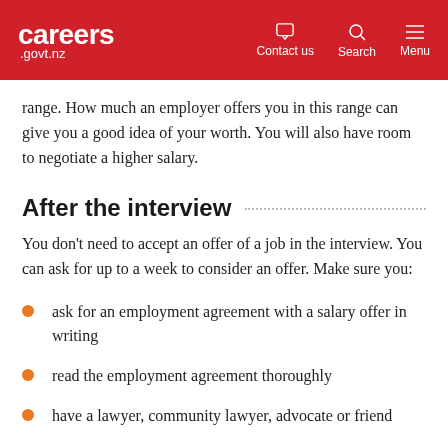careers.govt.nz — Contact us | Search | Menu
range. How much an employer offers you in this range can give you a good idea of your worth. You will also have room to negotiate a higher salary.
After the interview
You don't need to accept an offer of a job in the interview. You can ask for up to a week to consider an offer. Make sure you:
ask for an employment agreement with a salary offer in writing
read the employment agreement thoroughly
have a lawyer, community lawyer, advocate or friend